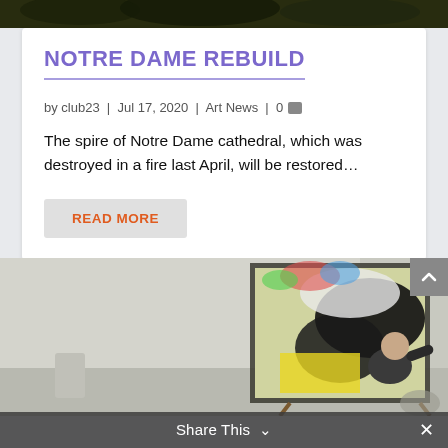[Figure (photo): Top portion of outdoor/nature photo with dark foliage, partially cropped at top of page]
NOTRE DAME REBUILD
by club23 | Jul 17, 2020 | Art News | 0
The spire of Notre Dame cathedral, which was destroyed in a fire last April, will be restored...
READ MORE
[Figure (photo): Artist working on a large abstract expressionist painting on an easel in a studio. The painting features bold black, white, yellow and colorful strokes forming a figure. A shaved-head person in black clothing is seen from behind, painting.]
Share This  ∨